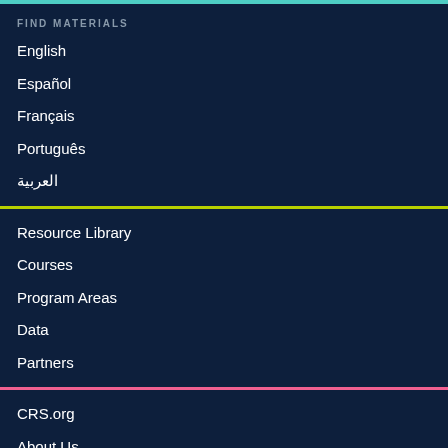FIND MATERIALS
English
Español
Français
Português
العربية
Resource Library
Courses
Program Areas
Data
Partners
CRS.org
About Us
FAQs